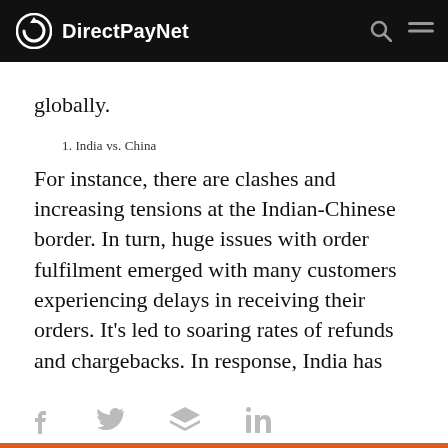DirectPayNet
globally.
1. India vs. China
For instance, there are clashes and increasing tensions at the Indian-Chinese border. In turn, huge issues with order fulfilment emerged with many customers experiencing delays in receiving their orders. It’s led to soaring rates of refunds and chargebacks. In response, India has